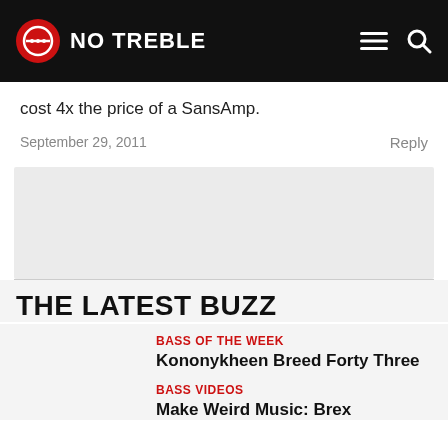NO TREBLE
cost 4x the price of a SansAmp.
September 29, 2011    Reply
[Figure (other): Gray advertisement or placeholder block]
THE LATEST BUZZ
BASS OF THE WEEK
Kononykheen Breed Forty Three
BASS VIDEOS
Make Weird Music: Brex